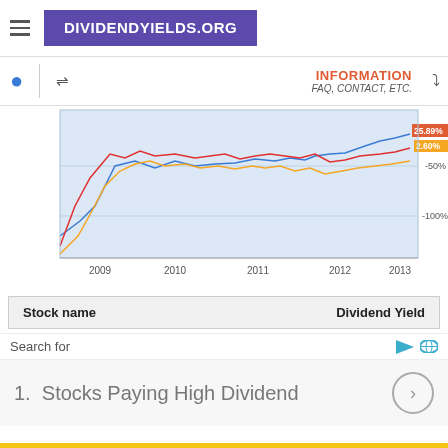DIVIDENDYIELDS.ORG
[Figure (line-chart): Multi-line chart showing three stock price performance lines (blue, red, orange) from 2009 to 2013. Values at end: 25.89% and 2.60%. Y-axis shows -50% and -100%. X-axis shows years 2009, 2010, 2011, 2012, 2013.]
| Stock name | Dividend Yield |
| --- | --- |
Search for
1.  Stocks Paying High Dividend